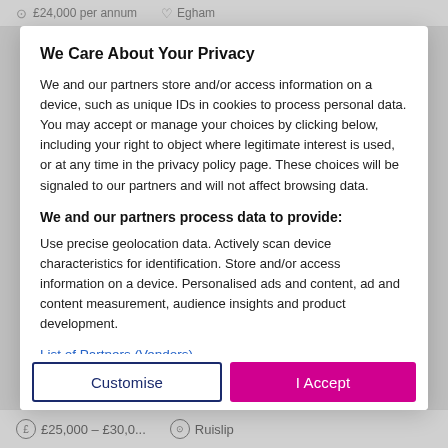£24,000 per annum    Egham
We Care About Your Privacy
We and our partners store and/or access information on a device, such as unique IDs in cookies to process personal data. You may accept or manage your choices by clicking below, including your right to object where legitimate interest is used, or at any time in the privacy policy page. These choices will be signaled to our partners and will not affect browsing data.
We and our partners process data to provide:
Use precise geolocation data. Actively scan device characteristics for identification. Store and/or access information on a device. Personalised ads and content, ad and content measurement, audience insights and product development.
List of Partners (Vendors)
£25,000 – £30,0...    Ruislip